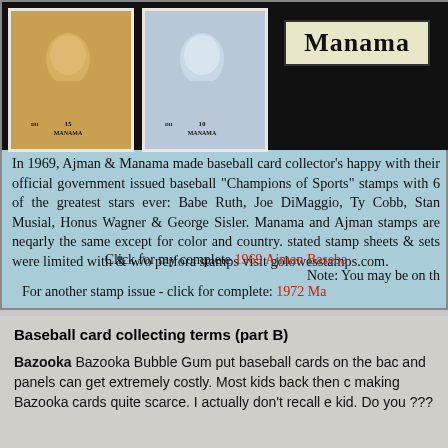[Figure (illustration): Two Manama baseball stamp images and a Manama logo box on black background]
In 1969, Ajman & Manama made baseball card collector's happy with their official government issued baseball "Champions of Sports" stamps with 6 of the greatest stars ever: Babe Ruth, Joe DiMaggio, Ty Cobb, Stan Musial, Honus Wagner & George Sisler. Manama and Ajman stamps are nearly the same except for color and country. stated stamp sheets & sets were limited with & w/o perforations stamps visit golowesstamps.com.
Click for my complete 1969 Ajman Baseball... Note: You may be on th... For another stamp issue - click for complete: 1972 Ma...
Baseball card collecting terms (part B)
Bazooka Bazooka Bubble Gum put baseball cards on the back and panels can get extremely costly. Most kids back then c... making Bazooka cards quite scarce. I actually don't recall e... kid. Do you ???